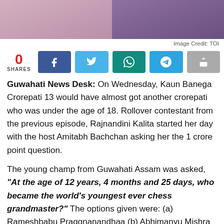[Figure (photo): Two cropped photos of people side by side, with purple/mauve clothing visible at top]
Image Credit: TOI
0 SHARES — social share buttons for Facebook, Twitter, WhatsApp, Telegram, and a generic share button
Guwahati News Desk: On Wednesday, Kaun Banega Crorepati 13 would have almost got another crorepati who was under the age of 18. Rollover contestant from the previous episode, Rajnandini Kalita started her day with the host Amitabh Bachchan asking her the 1 crore point question.

The young champ from Guwahati Assam was asked, "At the age of 12 years, 4 months and 25 days, who became the world's youngest ever chess grandmaster?" The options given were: (a) Rameshbabu Praggnanandhaa (b) Abhimanyu Mishra (c) Beth Harmon (d) Gukesh Dommaraiu.